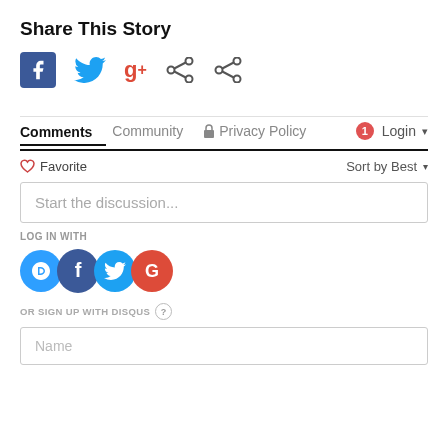Share This Story
[Figure (infographic): Row of social sharing icons: Facebook (blue square), Twitter (blue bird), Google+ (red G+), and two generic share icons]
Comments  Community  Privacy Policy  1  Login
♡ Favorite  Sort by Best ▾
Start the discussion...
LOG IN WITH
[Figure (infographic): Login social circle icons: Disqus (D, blue), Facebook (f, dark blue), Twitter (bird, cyan), Google (G, red)]
OR SIGN UP WITH DISQUS ?
Name